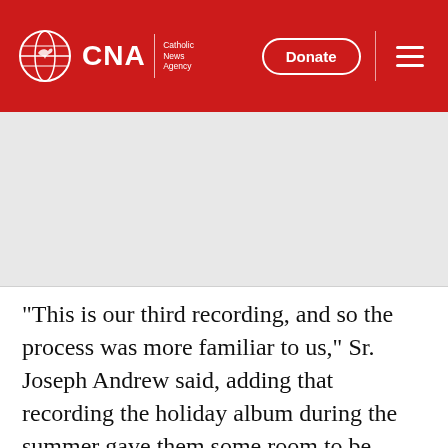CNA Catholic News Agency | Donate
[Figure (photo): Gray placeholder image area below the CNA header navigation bar]
"This is our third recording, and so the process was more familiar to us," Sr. Joseph Andrew said, adding that recording the holiday album during the summer gave them some room to be more creative with the process.